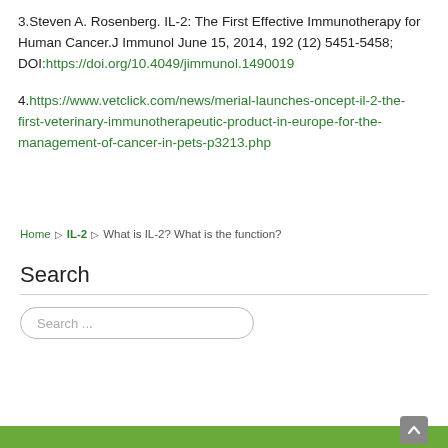3.Steven A. Rosenberg. IL-2: The First Effective Immunotherapy for Human Cancer.J Immunol June 15, 2014, 192 (12) 5451-5458; DOI:https://doi.org/10.4049/jimmunol.1490019
4.https://www.vetclick.com/news/merial-launches-oncept-il-2-the-first-veterinary-immunotherapeutic-product-in-europe-for-the-management-of-cancer-in-pets-p3213.php
Home ▷ IL-2 ▷ What is IL-2? What is the function?
Search
Search ...